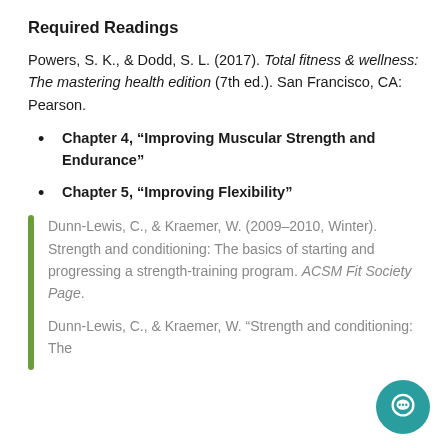Required Readings
Powers, S. K., & Dodd, S. L. (2017). Total fitness & wellness: The mastering health edition (7th ed.). San Francisco, CA: Pearson.
Chapter 4, “Improving Muscular Strength and Endurance”
Chapter 5, “Improving Flexibility”
Dunn-Lewis, C., & Kraemer, W. (2009–2010, Winter). Strength and conditioning: The basics of starting and progressing a strength-training program. ACSM Fit Society Page.
Dunn-Lewis, C., & Kraemer, W. “Strength and conditioning: The